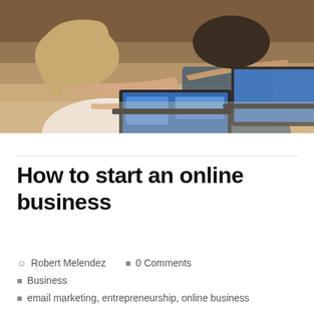[Figure (photo): Two people working on laptops at a desk in what appears to be a cafe or co-working space. A woman in a white t-shirt is in the foreground, a man in a dark patterned shirt is behind her.]
How to start an online business
Robert Melendez   0 Comments
Business
email marketing, entrepreneurship, online business